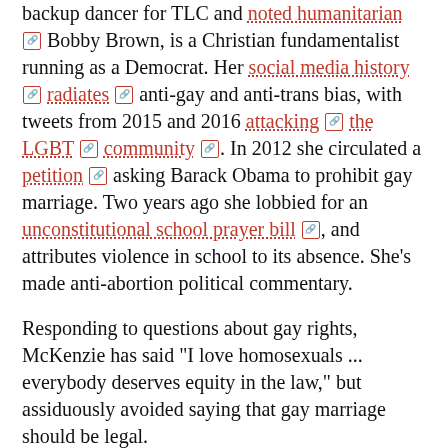backup dancer for TLC and noted humanitarian [ref] Bobby Brown, is a Christian fundamentalist running as a Democrat. Her social media history [ref] radiates [ref] anti-gay and anti-trans bias, with tweets from 2015 and 2016 attacking [ref] the LGBT [ref] community [ref]. In 2012 she circulated a petition [ref] asking Barack Obama to prohibit gay marriage. Two years ago she lobbied for an unconstitutional school prayer bill [ref], and attributes violence in school to its absence. She's made anti-abortion political commentary.
Responding to questions about gay rights, McKenzie has said "I love homosexuals ... everybody deserves equity in the law," but assiduously avoided saying that gay marriage should be legal.
I picked up on some of this when she helped former State Rep. Randal Mangham's failed campaign for a